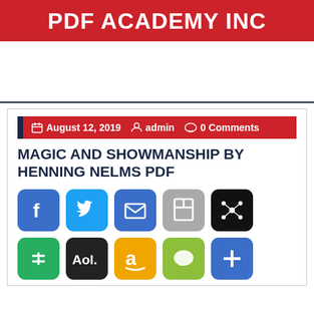PDF ACADEMY INC
August 12, 2019  admin  0 Comments
MAGIC AND SHOWMANSHIP BY HENNING NELMS PDF
[Figure (infographic): Row of social share icons: Facebook, Twitter, Email, Save, Network, Calculator, AOL, Amazon, Chat, Plus]